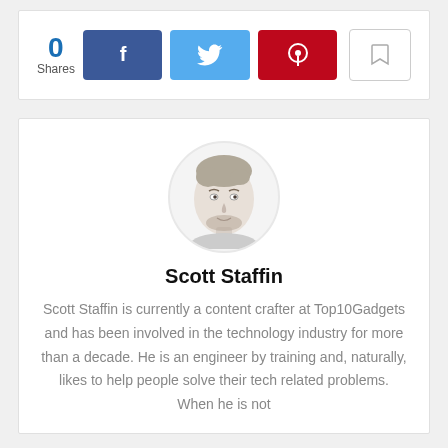0 Shares
[Figure (infographic): Social sharing bar with Facebook (blue), Twitter (light blue), Pinterest (dark red) buttons and a bookmark button. Share count shows 0 Shares.]
[Figure (illustration): Circular avatar portrait of Scott Staffin — a pencil/sketch-style illustration of a man with medium-length hair and beard.]
Scott Staffin
Scott Staffin is currently a content crafter at Top10Gadgets and has been involved in the technology industry for more than a decade. He is an engineer by training and, naturally, likes to help people solve their tech related problems. When he is not